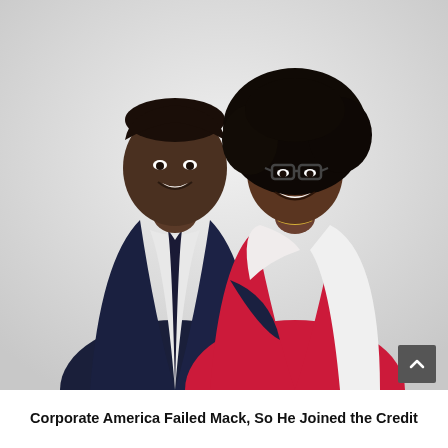[Figure (photo): A couple posing together against a light gray background. A man in a dark navy suit with a dark tie and white dress shirt stands on the left, smiling at the camera. A woman with voluminous natural curly hair, wearing glasses, a red top, and a white shawl/cardigan stands on the right, also smiling. The man has his arm around the woman.]
Corporate America Failed Mack, So He Joined the Credit